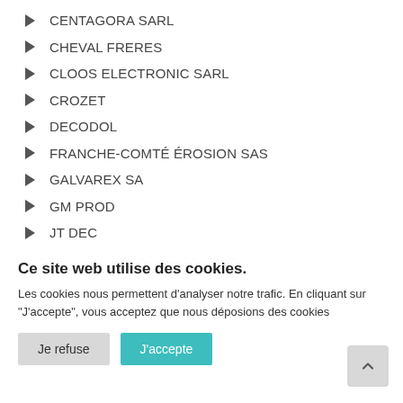CENTAGORA SARL
CHEVAL FRERES
CLOOS ELECTRONIC SARL
CROZET
DECODOL
FRANCHE-COMTÉ ÉROSION SAS
GALVAREX SA
GM PROD
JT DEC
Ce site web utilise des cookies.
Les cookies nous permettent d'analyser notre trafic. En cliquant sur "J'accepte", vous acceptez que nous déposions des cookies
Je refuse
J'accepte